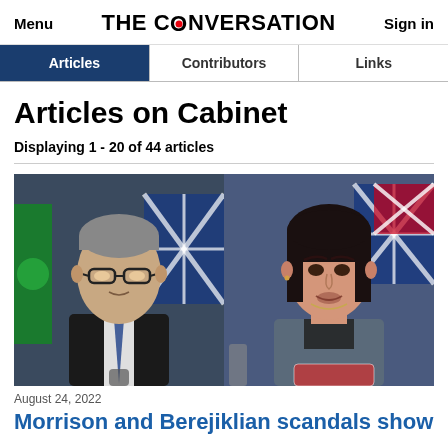Menu | THE CONVERSATION | Sign in
Articles | Contributors | Links
Articles on Cabinet
Displaying 1 - 20 of 44 articles
[Figure (photo): Two side-by-side photos: left shows a middle-aged man with glasses in a dark suit with a blue tie speaking at a press conference with Australian and Aboriginal flags behind him; right shows a woman with dark hair in a grey blazer speaking at a podium with Australian and British flags behind her.]
August 24, 2022
Morrison and Berejiklian scandals show